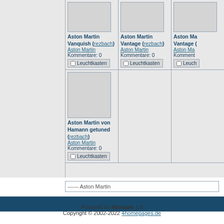[Figure (screenshot): Grid of car photo thumbnails with titles, category links, comment counts, and Leuchtkasten buttons. Row 1: Aston Martin Vanquish (rezbach), Aston Martin, Kommentare: 0; Aston Martin Vantage (rezbach), Aston Martin, Kommentare: 0; Aston Martin Vantage (partial, rezbach). Row 2: Aston Martin von Hamann getuned (rezbach), Aston Martin, Kommentare: 0.]
------ Aston Martin
Powered by 4images 1.8
Copyright © 2002-2022 4homepages.de